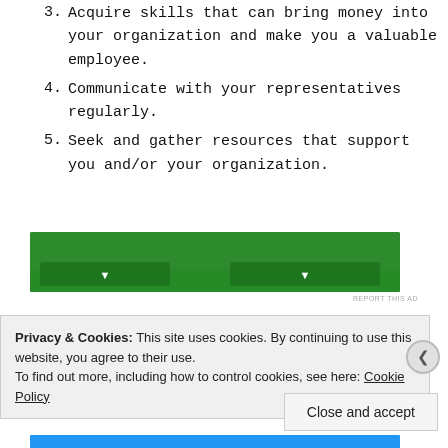3. Acquire skills that can bring money into your organization and make you a valuable employee.
4. Communicate with your representatives regularly.
5. Seek and gather resources that support you and/or your organization.
[Figure (other): Green advertisement banner (partially visible)]
REPORT THIS AD
Privacy & Cookies: This site uses cookies. By continuing to use this website, you agree to their use. To find out more, including how to control cookies, see here: Cookie Policy
Close and accept